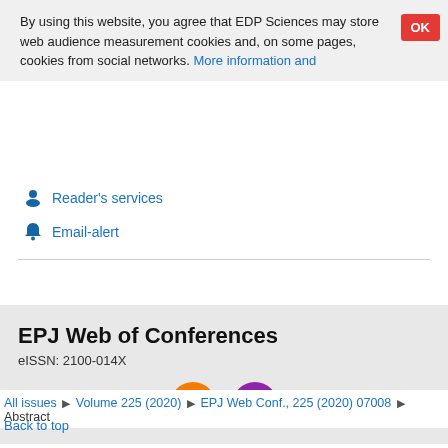By using this website, you agree that EDP Sciences may store web audience measurement cookies and, on some pages, cookies from social networks. More information and setup
Reader's services
Email-alert
EPJ Web of Conferences
eISSN: 2100-014X
All issues ▶ Volume 225 (2020) ▶ EPJ Web Conf., 225 (2020) 07008 ▶ Abstract
Back to top